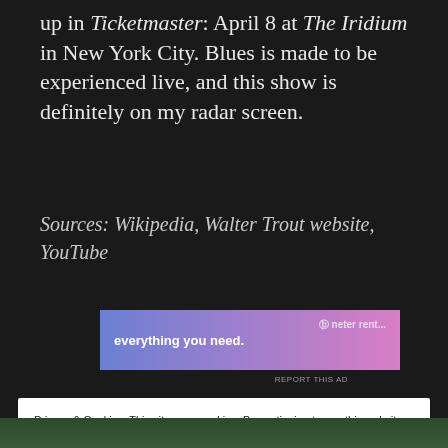up in Ticketmaster: April 8 at The Iridium in New York City. Blues is made to be experienced live, and this show is definitely on my radar screen.
Sources: Wikipedia, Walter Trout website, YouTube
[Figure (other): Advertisement banner with gradient background (blue to pink) showing text 'everything you need.' with a logo on the right side]
REPORT THIS AD
Privacy & Cookies: This site uses cookies. By continuing to use this website, you agree to their use.
To find out more, including how to control cookies, see here:
Cookie Policy
Close and accept